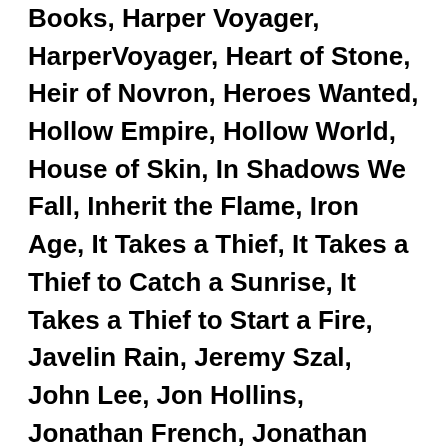Books, Harper Voyager, HarperVoyager, Heart of Stone, Heir of Novron, Heroes Wanted, Hollow Empire, Hollow World, House of Skin, In Shadows We Fall, Inherit the Flame, Iron Age, It Takes a Thief, It Takes a Thief to Catch a Sunrise, It Takes a Thief to Start a Fire, Javelin Rain, Jeremy Szal, John Lee, Jon Hollins, Jonathan French, Jonathan Janz, Jonathan Wood, Josiah Bancroft, Justin T. Call, Justin Travis Call, Karen Osborne, Killer of Men, King of Assassins, King of the Bosporus, Last Call at the Nightshade Lounge, Legacy of Ash, Legacy Trilogy, Legion versus Phalanx, Lightning Run, Long John Silver, Long War, Lost Lore, Low Fantasy, Luke Arnold, M R Carey, Manifest Delusions, Marathon: Freedom or Death, Marina Lostetter